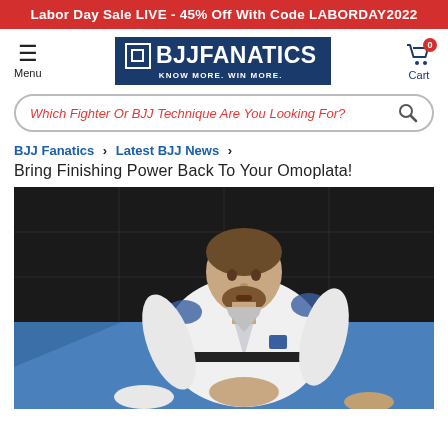Labor Day Sale LIVE - 45% Off With Code LABORDAY2022
[Figure (logo): BJJ Fanatics logo with shopping cart and menu icons in navigation bar]
Which Fighter Or BJJ Technique Are You Looking For?
BJJ Fanatics › Latest BJJ News ›
Bring Finishing Power Back To Your Omoplata!
[Figure (photo): A BJJ practitioner in a white gi with blue patches performing an omoplata technique on a blue mat with dark wall padding in background]